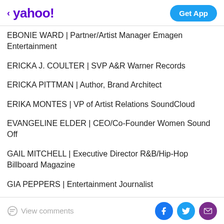< yahoo! | Get App
EBONIE WARD | Partner/Artist Manager Emagen Entertainment
ERICKA J. COULTER | SVP A&R Warner Records
ERICKA PITTMAN | Author, Brand Architect
ERIKA MONTES | VP of Artist Relations SoundCloud
EVANGELINE ELDER | CEO/Co-Founder Women Sound Off
GAIL MITCHELL | Executive Director R&B/Hip-Hop Billboard Magazine
GIA PEPPERS | Entertainment Journalist
View comments | Facebook | Twitter | Email